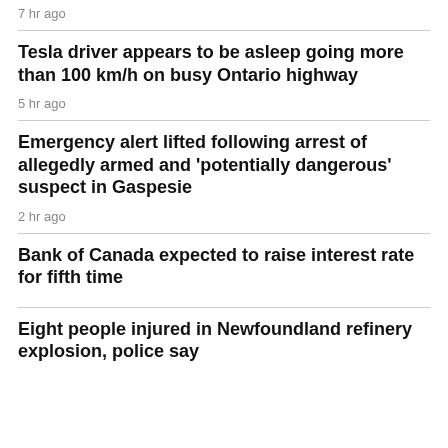7 hr ago
Tesla driver appears to be asleep going more than 100 km/h on busy Ontario highway
5 hr ago
Emergency alert lifted following arrest of allegedly armed and 'potentially dangerous' suspect in Gaspesie
2 hr ago
Bank of Canada expected to raise interest rate for fifth time
Eight people injured in Newfoundland refinery explosion, police say